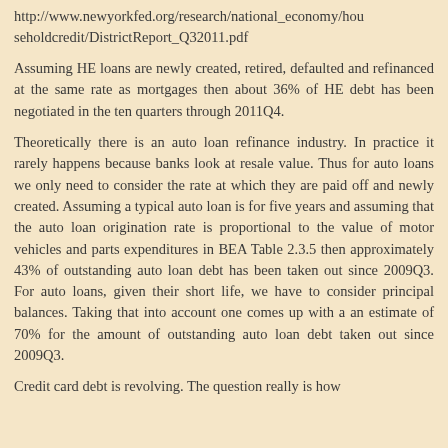http://www.newyorkfed.org/research/national_economy/householdcredit/DistrictReport_Q32011.pdf
Assuming HE loans are newly created, retired, defaulted and refinanced at the same rate as mortgages then about 36% of HE debt has been negotiated in the ten quarters through 2011Q4.
Theoretically there is an auto loan refinance industry. In practice it rarely happens because banks look at resale value. Thus for auto loans we only need to consider the rate at which they are paid off and newly created. Assuming a typical auto loan is for five years and assuming that the auto loan origination rate is proportional to the value of motor vehicles and parts expenditures in BEA Table 2.3.5 then approximately 43% of outstanding auto loan debt has been taken out since 2009Q3. For auto loans, given their short life, we have to consider principal balances. Taking that into account one comes up with a an estimate of 70% for the amount of outstanding auto loan debt taken out since 2009Q3.
Credit card debt is revolving. The question really is how